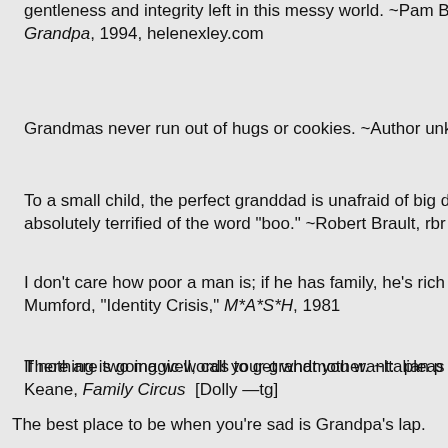Dear Grandad: You make me believe there really is some gentleness and integrity left in this messy world. ~Pam Brown, To a Very Special Grandpa, 1994, helenexley.com
Grandmas never run out of hugs or cookies. ~Author unk
To a small child, the perfect granddad is unafraid of big dogs and absolutely terrified of the word "boo." ~Robert Brault, rbr
I don't care how poor a man is; if he has family, he's rich. ~Mumford, "Identity Crisis," M*A*S*H, 1981
There are two magic words to get what you want: please. ~Bil Keane, Family Circus [Dolly —tg]
If nothing is going well, call your grandmother. ~Italian pr
The best place to be when you're sad is Grandpa's lap.